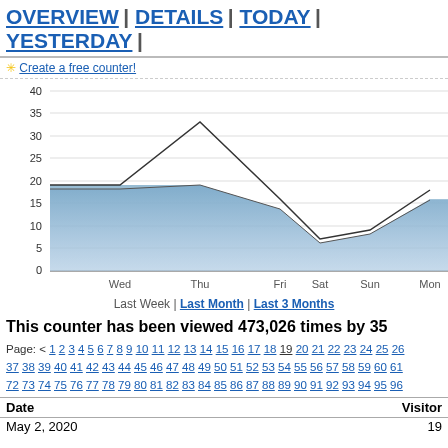OVERVIEW | DETAILS | TODAY | YESTERDAY |
✳ Create a free counter!
[Figure (area-chart): Last Week visits]
Last Week | Last Month | Last 3 Months
This counter has been viewed 473,026 times by 35
Page: < 1 2 3 4 5 6 7 8 9 10 11 12 13 14 15 16 17 18 19 20 21 22 23 24 25 26 37 38 39 40 41 42 43 44 45 46 47 48 49 50 51 52 53 54 55 56 57 58 59 60 61 72 73 74 75 76 77 78 79 80 81 82 83 84 85 86 87 88 89 90 91 92 93 94 95 96
| Date | Visitor |
| --- | --- |
| May 2, 2020 | 19 |